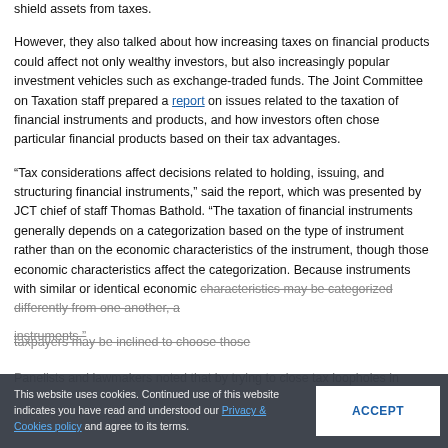shield assets from taxes.
However, they also talked about how increasing taxes on financial products could affect not only wealthy investors, but also increasingly popular investment vehicles such as exchange-traded funds. The Joint Committee on Taxation staff prepared a report on issues related to the taxation of financial instruments and products, and how investors often chose particular financial products based on their tax advantages.
“Tax considerations affect decisions related to holding, issuing, and structuring financial instruments,” said the report, which was presented by JCT chief of staff Thomas Bathold. “The taxation of financial instruments generally depends on a categorization based on the type of instrument rather than on the economic characteristics of the instrument, though those economic characteristics affect the categorization. Because instruments with similar or identical economic characteristics may be categorized differently from one another, a [text continues...] chose [those] instruments.”
Panelists and lawmakers noted that by trying to close tax loopholes in [text cut off]
This website uses cookies. Continued use of this website indicates you have read and understood our Privacy & Cookies policy and agree to its terms.